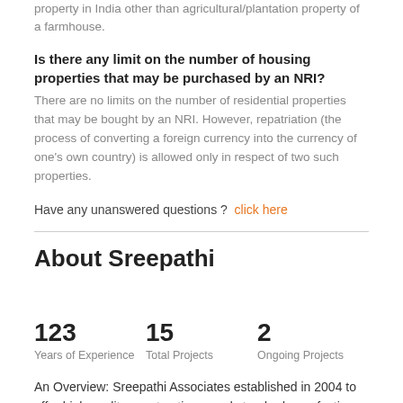property in India other than agricultural/plantation property of a farmhouse.
Is there any limit on the number of housing properties that may be purchased by an NRI?
There are no limits on the number of residential properties that may be bought by an NRI. However, repatriation (the process of converting a foreign currency into the currency of one's own country) is allowed only in respect of two such properties.
Have any unanswered questions ?  click here
About Sreepathi
123
Years of Experience
15
Total Projects
2
Ongoing Projects
An Overview: Sreepathi Associates established in 2004 to offer high quality construction, good standards, perfection and timely